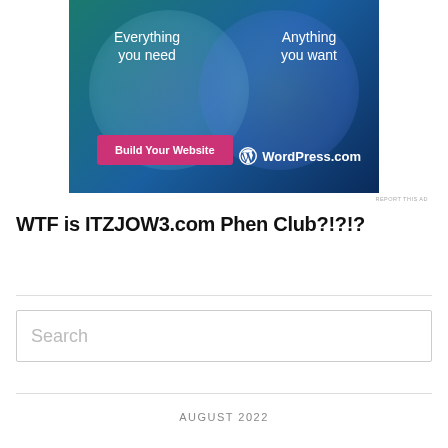[Figure (illustration): WordPress.com advertisement banner with teal and blue gradient background, two overlapping circles, text 'Everything you need' and 'Anything you want', a pink 'Build Your Website' button, and WordPress.com logo]
REPORT THIS AD
WTF is ITZJOW3.com Phen Club?!?!?
ITZJOW3.com Phen Club
Search
AUGUST 2022